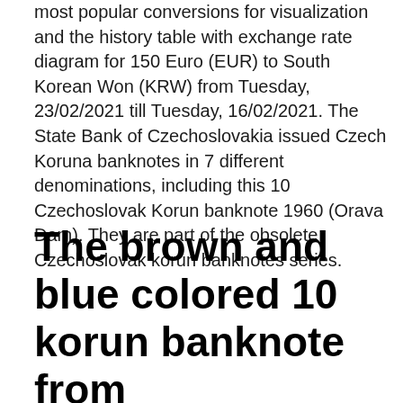most popular conversions for visualization and the history table with exchange rate diagram for 150 Euro (EUR) to South Korean Won (KRW) from Tuesday, 23/02/2021 till Tuesday, 16/02/2021. The State Bank of Czechoslovakia issued Czech Koruna banknotes in 7 different denominations, including this 10 Czechoslovak Korun banknote 1960 (Orava Dam). They are part of the obsolete Czechoslovak korun banknotes series.
The brown and blue colored 10 korun banknote from Czechoslovakia